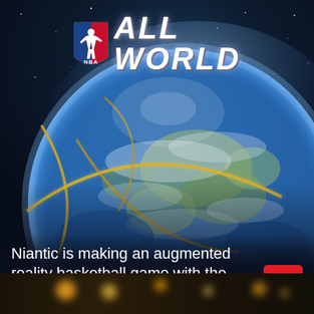[Figure (illustration): NBA All World game promotional image showing a basketball merged with Earth seen from space, against a dark blue starry background. The NBA shield logo appears top-center alongside large stylized text reading 'ALL WORLD'.]
Niantic is making an augmented reality basketball game with the NBA
[Figure (photo): Bottom strip showing a dark indoor scene with bokeh lights, possibly an arena or venue interior.]